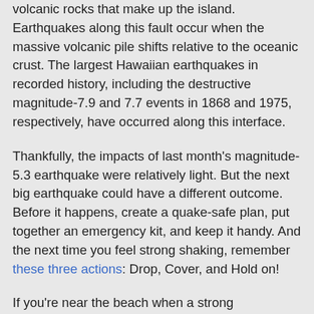volcanic rocks that make up the island. Earthquakes along this fault occur when the massive volcanic pile shifts relative to the oceanic crust. The largest Hawaiian earthquakes in recorded history, including the destructive magnitude-7.9 and 7.7 events in 1868 and 1975, respectively, have occurred along this interface.
Thankfully, the impacts of last month's magnitude-5.3 earthquake were relatively light. But the next big earthquake could have a different outcome. Before it happens, create a quake-safe plan, put together an emergency kit, and keep it handy. And the next time you feel strong shaking, remember these three actions: Drop, Cover, and Hold on!
If you're near the beach when a strong earthquake strikes, head to higher ground away from the shore as soon as shaking stops. This could save your life in case of a locally-generated tsunami.